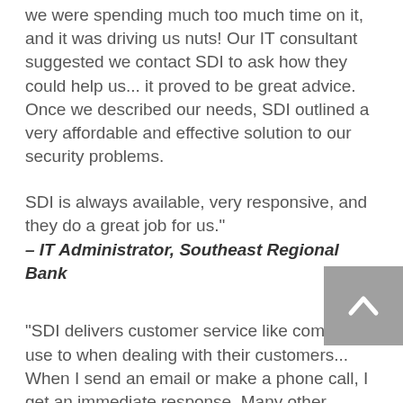we were spending much too much time on it, and it was driving us nuts! Our IT consultant suggested we contact SDI to ask how they could help us... it proved to be great advice. Once we described our needs, SDI outlined a very affordable and effective solution to our security problems.
SDI is always available, very responsive, and they do a great job for us."
– IT Administrator, Southeast Regional Bank
"SDI delivers customer service like companies use to when dealing with their customers... When I send an email or make a phone call, I get an immediate response. Many other companies you call and call and call...